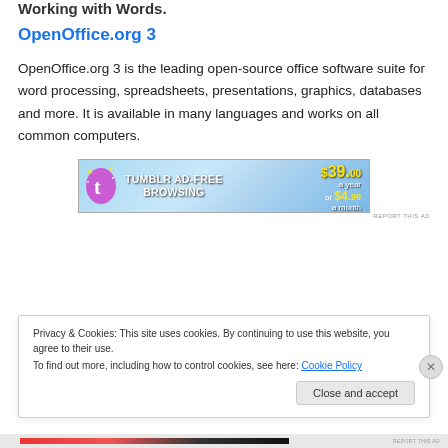Working with Words.
OpenOffice.org 3
OpenOffice.org 3 is the leading open-source office software suite for word processing, spreadsheets, presentations, graphics, databases and more. It is available in many languages and works on all common computers.
[Figure (other): Tumblr Ad-Free Browsing advertisement banner showing Tumblr logo and pricing $39.00 a year or $4.99 a month]
Privacy & Cookies: This site uses cookies. By continuing to use this website, you agree to their use.
To find out more, including how to control cookies, see here: Cookie Policy
Close and accept